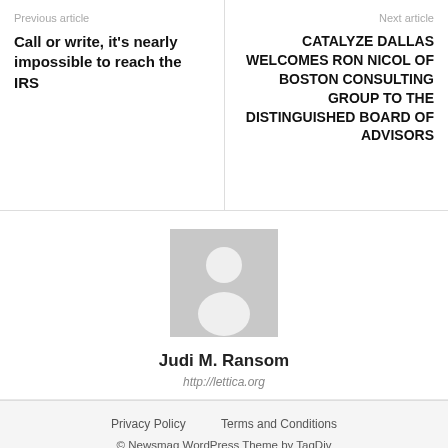Previous article
Call or write, it's nearly impossible to reach the IRS
Next article
CATALYZE DALLAS WELCOMES RON NICOL OF BOSTON CONSULTING GROUP TO THE DISTINGUISHED BOARD OF ADVISORS
[Figure (illustration): Generic user avatar placeholder — grey silhouette of a person on grey background]
Judi M. Ransom
http://lettica.org
Privacy Policy   Terms and Conditions
© Newsmag WordPress Theme by TagDiv